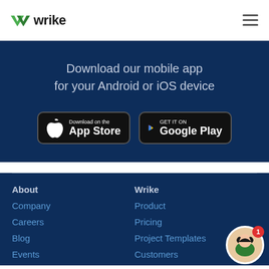[Figure (logo): Wrike logo with green checkmark icon and 'wrike' wordmark in dark text]
[Figure (illustration): Hamburger menu icon (three horizontal lines) in top right corner]
Download our mobile app for your Android or iOS device
[Figure (screenshot): Apple App Store download button — Download on the App Store]
[Figure (screenshot): Google Play Store download button — GET IT ON Google Play]
About
Wrike
Company
Product
Careers
Pricing
Blog
Project Templates
Events
Customers